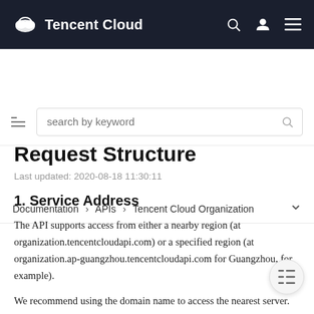Tencent Cloud
search by keyword
Documentation > APIs > Tencent Cloud Organization
Request Structure
Last updated: 2020-08-18 11:30:11
1. Service Address
The API supports access from either a nearby region (at organization.tencentcloudapi.com) or a specified region (at organization.ap-guangzhou.tencentcloudapi.com for Guangzhou, for example).
We recommend using the domain name to access the nearest server. When you call an API, the request is automatically